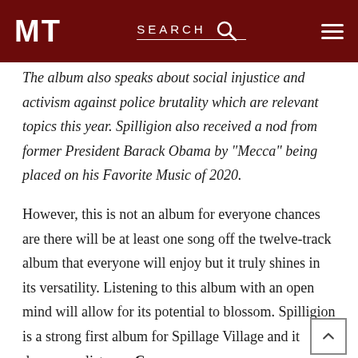MT SEARCH
The album also speaks about social injustice and activism against police brutality which are relevant topics this year. Spilligion also received a nod from former President Barack Obama by “Mecca” being placed on his Favorite Music of 2020.
However, this is not an album for everyone chances are there will be at least one song off the twelve-track album that everyone will enjoy but it truly shines in its versatility. Listening to this album with an open mind will allow for its potential to blossom. Spilligion is a strong first album for Spillage Village and it deserves a listen. – Cruz